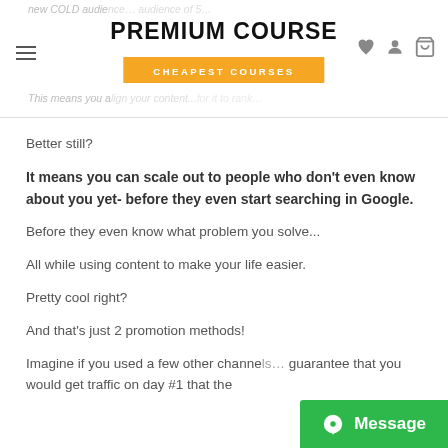PREMIUM COURSE / CHEAPEST COURSES
Better still?
It means you can scale out to people who don't even know about you yet- before they even start searching in Google.
Before they even know what problem you solve...
All while using content to make your life easier.
Pretty cool right?
And that's just 2 promotion methods!
Imagine if you used a few other channe… guarantee that you would get traffic on day #1 that the